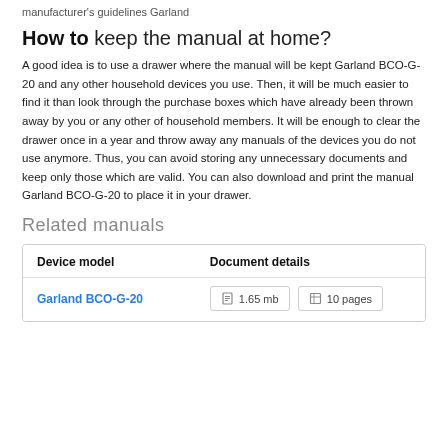manufacturer's guidelines Garland
How to keep the manual at home?
A good idea is to use a drawer where the manual will be kept Garland BCO-G-20 and any other household devices you use. Then, it will be much easier to find it than look through the purchase boxes which have already been thrown away by you or any other of household members. It will be enough to clear the drawer once in a year and throw away any manuals of the devices you do not use anymore. Thus, you can avoid storing any unnecessary documents and keep only those which are valid. You can also download and print the manual Garland BCO-G-20 to place it in your drawer.
Related manuals
| Device model | Document details |
| --- | --- |
| Garland BCO-G-20 | 1.65 mb  10 pages |